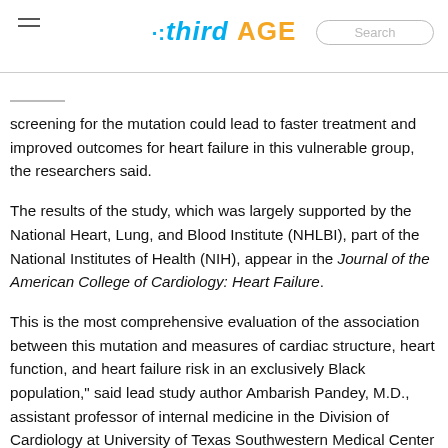thirdAGE | Search
screening for the mutation could lead to faster treatment and improved outcomes for heart failure in this vulnerable group, the researchers said.
The results of the study, which was largely supported by the National Heart, Lung, and Blood Institute (NHLBI), part of the National Institutes of Health (NIH), appear in the Journal of the American College of Cardiology: Heart Failure.
This is the most comprehensive evaluation of the association between this mutation and measures of cardiac structure, heart function, and heart failure risk in an exclusively Black population," said lead study author Ambarish Pandey, M.D., assistant professor of internal medicine in the Division of Cardiology at University of Texas Southwestern Medical Center in Dallas. "The